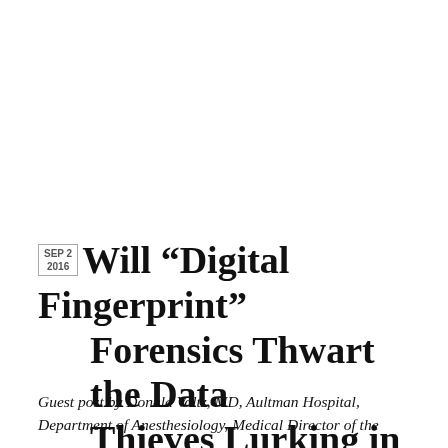Will “Digital Fingerprint” Forensics Thwart the Data Thieves Lurking in Hospital EHR Corridors?
Guest post by Donald Voltz, MD, Aultman Hospital, Department of Anesthesiology, Medical Director of the